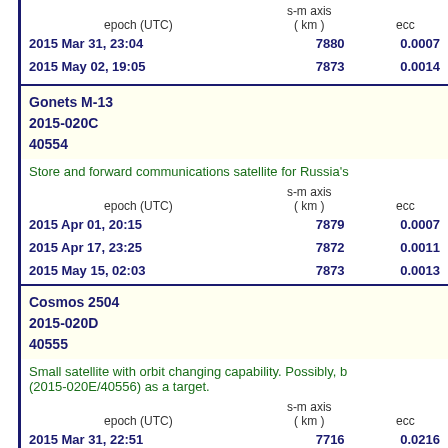| epoch (UTC) | s-m axis ( km ) | ecc |
| --- | --- | --- |
| 2015 Mar 31, 23:04 | 7880 | 0.0007 |
| 2015 May 02, 19:05 | 7873 | 0.0014 |
Gonets M-13
2015-020C
40554
Store and forward communications satellite for Russia's
| epoch (UTC) | s-m axis ( km ) | ecc |
| --- | --- | --- |
| 2015 Apr 01, 20:15 | 7879 | 0.0007 |
| 2015 Apr 17, 23:25 | 7872 | 0.0011 |
| 2015 May 15, 02:03 | 7873 | 0.0013 |
Cosmos 2504
2015-020D
40555
Small satellite with orbit changing capability. Possibly, b (2015-020E/40556) as a target.
| epoch (UTC) | s-m axis ( km ) | ecc |
| --- | --- | --- |
| 2015 Mar 31, 22:51 | 7716 | 0.0216 |
| 2015 Apr 10, 05:51 | 7719 | 0.0217 |
| 2015 Apr 13, 18:15 | 7722 | 0.0222 |